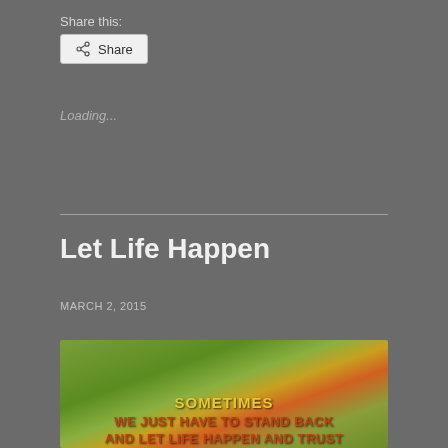Share this:
Share
Loading...
Let Life Happen
MARCH 2, 2015
[Figure (photo): Motivational image with blurred outdoor green background and orange/red glow. Text overlay reads: SOMETIMES / WE JUST HAVE TO STAND BACK / AND LET LIFE HAPPEN AND TRUST]